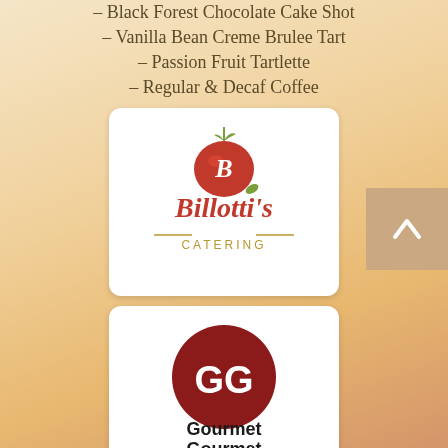– Black Forest Chocolate Cake Shot
– Vanilla Bean Creme Brulee Tart
– Passion Fruit Tartlette
– Regular & Decaf Coffee
[Figure (logo): Billotti's Catering logo — red tomato with cursive B, text Billotti's in red script, CATERING in gold serif]
[Figure (logo): Gourmet Gourmet Catering Inc. logo — dark red circle with GG letters in white, bold text below]
[Figure (logo): Canyon Catering logo — bold black serif text CANYON with red arc lines, CATERING below]
[Figure (logo): Impressions Gourmet Catering — white italic script text on black rounded rectangle background]
[Figure (logo): Colette's logo — partial view, black serif text on white rounded rectangle]